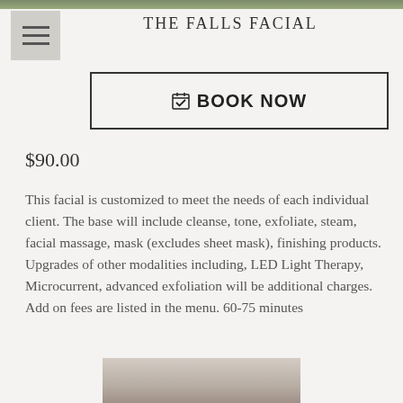THE FALLS FACIAL
BOOK NOW
$90.00
This facial is customized to meet the needs of each individual client. The base will include cleanse, tone, exfoliate, steam, facial massage, mask (excludes sheet mask), finishing products. Upgrades of other modalities including, LED Light Therapy, Microcurrent, advanced exfoliation will be additional charges. Add on fees are listed in the menu. 60-75 minutes
[Figure (photo): Partial view of a person's head/face at the bottom of the page]